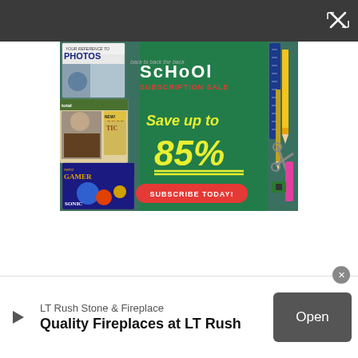[Figure (screenshot): Dark grey toolbar bar at top with a close/collapse icon (X with arrows) in the top-right corner]
[Figure (infographic): Back to School Subscription Sale advertisement on green chalkboard background. Shows magazines (PHOTOS, Total Guitar/Acoustic, Retro Gamer) stacked on left, school supplies (ruler, pencils, scissors, highlighters) on right. Text: 'back to ScHoOl SUBSCRIPTION SALE', 'Save up to 85%', 'SUBSCRIBE TODAY!' button in red.]
[Figure (screenshot): Bottom ad banner: LT Rush Stone & Fireplace - Quality Fireplaces at LT Rush, with an Open button in grey]